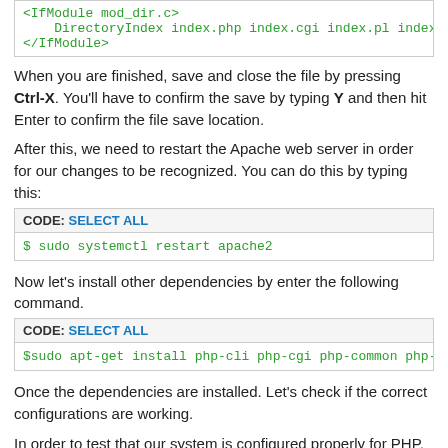[Figure (screenshot): Code block showing <IfModule mod_dir.c> DirectoryIndex index.php index.cgi index.pl index.html index and </IfModule>]
When you are finished, save and close the file by pressing Ctrl-X. You'll have to confirm the save by typing Y and then hit Enter to confirm the file save location.
After this, we need to restart the Apache web server in order for our changes to be recognized. You can do this by typing this:
[Figure (screenshot): Code block with header 'CODE: SELECT ALL' and code '$ sudo systemctl restart apache2']
Now let's install other dependencies by enter the following command.
[Figure (screenshot): Code block with header 'CODE: SELECT ALL' and code '$sudo apt-get install php-cli php-cgi php-common php-gd php-...']
Once the dependencies are installed. Let's check if the correct configurations are working.
In order to test that our system is configured properly for PHP, we can create a very basic PHP script.
We will call this script info.php. In order for Apache to find the file and